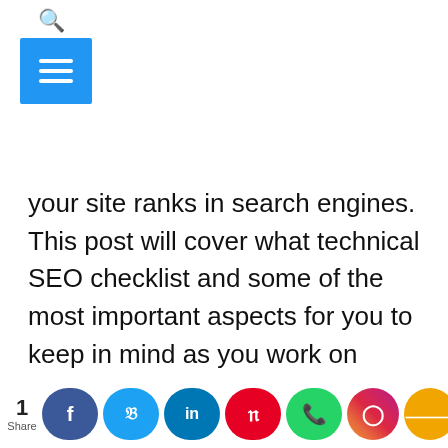[Figure (other): Navigation UI with search icon and blue hamburger menu button]
your site ranks in search engines. This post will cover what technical SEO checklist and some of the most important aspects for you to keep in mind as you work on improving your rankings.
Technical SEO is a set of best practices for improving the performance of your website in search engines. It refers to any changes
[Figure (other): Social share bar with share count 1, Facebook, Twitter, LinkedIn, Pinterest, WhatsApp, Instagram, and share buttons]